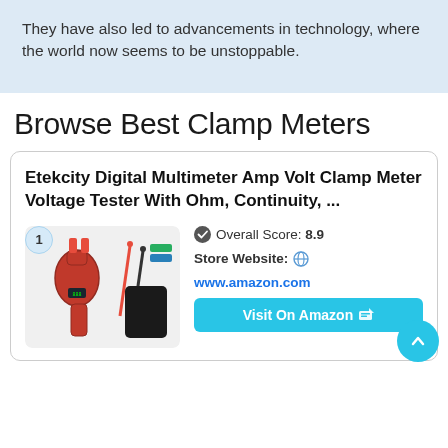They have also led to advancements in technology, where the world now seems to be unstoppable.
Browse Best Clamp Meters
Etekcity Digital Multimeter Amp Volt Clamp Meter Voltage Tester With Ohm, Continuity, ...
[Figure (photo): Photo of Etekcity digital clamp meter with accessories including test probes and a case, with a badge showing number 1]
Overall Score: 8.9
Store Website: www.amazon.com
Visit On Amazon